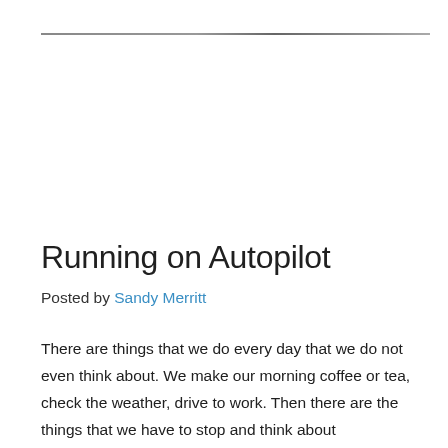Running on Autopilot
Posted by Sandy Merritt
There are things that we do every day that we do not even think about. We make our morning coffee or tea, check the weather, drive to work. Then there are the things that we have to stop and think about before we do them, choose them, or say them.